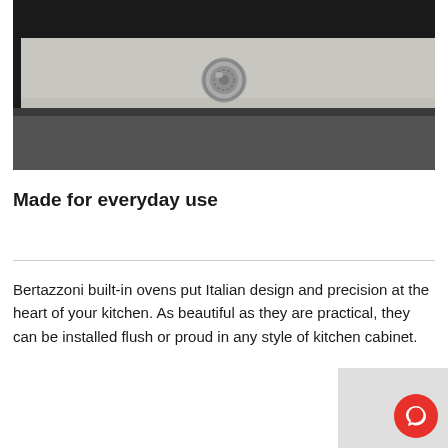[Figure (photo): Close-up photograph of a Bertazzoni built-in oven front panel, showing a light grey oven door with a decorative circular silver emblem/badge in the center, black interior visible at the top, set against a dark surrounding frame.]
Made for everyday use
Bertazzoni built-in ovens put Italian design and precision at the heart of your kitchen. As beautiful as they are practical, they can be installed flush or proud in any style of kitchen cabinet.